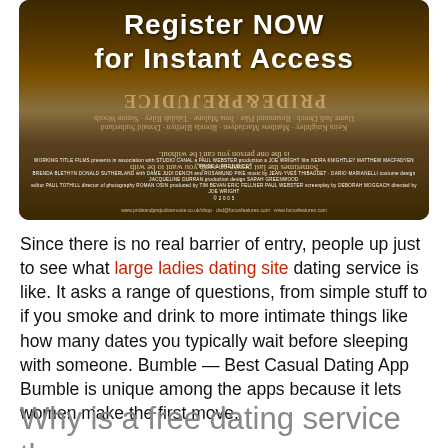[Figure (photo): Movie poster image with 'Register NOW for Instant Access' text overlaid. Background shows a dark, moody landscape scene with reversed/mirrored text from what appears to be a Pride & Prejudice DVD cover.]
Since there is no real barrier of entry, people up just to see what large ladies dating site dating service is like. It asks a range of questions, from simple stuff to if you smoke and drink to more intimate things like how many dates you typically wait before sleeping with someone. Bumble — Best Casual Dating App Bumble is unique among the apps because it lets women make the first move.
Why is a free dating service the